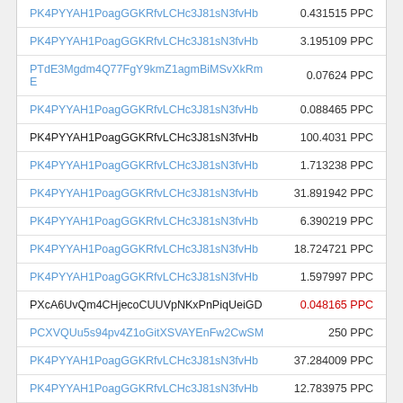| Address | Amount |
| --- | --- |
| PK4PYYAH1PoagGGKRfvLCHc3J81sN3fvHb | 0.431515 PPC |
| PK4PYYAH1PoagGGKRfvLCHc3J81sN3fvHb | 3.195109 PPC |
| PTdE3Mgdm4Q77FgY9kmZ1agmBiMSvXkRmE | 0.07624 PPC |
| PK4PYYAH1PoagGGKRfvLCHc3J81sN3fvHb | 0.088465 PPC |
| PK4PYYAH1PoagGGKRfvLCHc3J81sN3fvHb | 100.4031 PPC |
| PK4PYYAH1PoagGGKRfvLCHc3J81sN3fvHb | 1.713238 PPC |
| PK4PYYAH1PoagGGKRfvLCHc3J81sN3fvHb | 31.891942 PPC |
| PK4PYYAH1PoagGGKRfvLCHc3J81sN3fvHb | 6.390219 PPC |
| PK4PYYAH1PoagGGKRfvLCHc3J81sN3fvHb | 18.724721 PPC |
| PK4PYYAH1PoagGGKRfvLCHc3J81sN3fvHb | 1.597997 PPC |
| PXcA6UvQm4CHjecoCUUVpNKxPnPiqUeiGD | 0.048165 PPC |
| PCXVQUu5s94pv4Z1oGitXSVAYEnFw2CwSM | 250 PPC |
| PK4PYYAH1PoagGGKRfvLCHc3J81sN3fvHb | 37.284009 PPC |
| PK4PYYAH1PoagGGKRfvLCHc3J81sN3fvHb | 12.783975 PPC |
| PK4PYYAH1PoagGGKRfvLCHc3J81sN3fvHb | 3.211293 PPC |